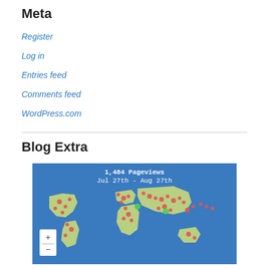Meta
Register
Log in
Entries feed
Comments feed
WordPress.com
Blog Extra
[Figure (map): World map showing 1,484 Pageviews from Jul 27th - Aug 27th with red and green dots indicating visitor locations]
[Figure (infographic): Row of badge images: Add to Technorati Favorites, Site Meter, ADD RSS 2.0, COMMENTS RSS, BrowseHappy, AnimeBlips Member Blog]